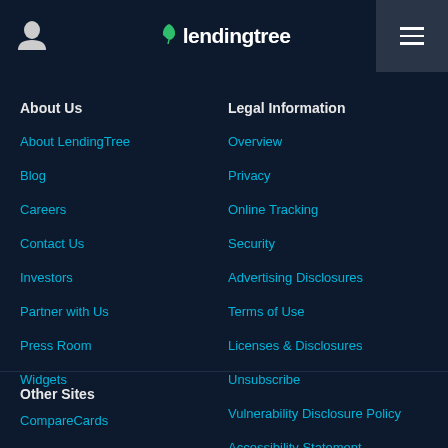LendingTree
About Us
About LendingTree
Blog
Careers
Contact Us
Investors
Partner with Us
Press Room
Widgets
Legal Information
Overview
Privacy
Online Tracking
Security
Advertising Disclosures
Terms of Use
Licenses & Disclosures
Unsubscribe
Vulnerability Disclosure Policy
Accessibility Statement
Other Sites
CompareCards